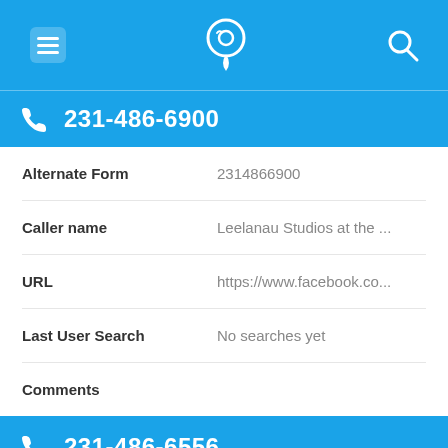[Figure (screenshot): Mobile app top navigation bar with hamburger menu icon, phone/location icon, and search icon on blue background]
231-486-6900
| Field | Value |
| --- | --- |
| Alternate Form | 2314866900 |
| Caller name | Leelanau Studios at the ... |
| URL | https://www.facebook.co... |
| Last User Search | No searches yet |
| Comments |  |
231-486-6556
| Field | Value |
| --- | --- |
| Alternate Form | 2314866556 |